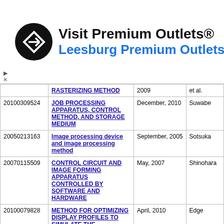[Figure (other): Advertisement banner for 'Visit Premium Outlets® - Leesburg Premium Outlets' with a black circular logo and a blue navigation arrow icon on the right.]
|  | Title | Date | Author |
| --- | --- | --- | --- |
|  | RASTERIZING METHOD | 2009 | et al. |
| 20100309524 | JOB PROCESSING APPARATUS, CONTROL METHOD, AND STORAGE MEDIUM | December, 2010 | Suwabe |
| 20050213163 | Image processing device and image processing method | September, 2005 | Sotsuka |
| 20070115509 | CONTROL CIRCUIT AND IMAGE FORMING APPARATUS CONTROLLED BY SOFTWARE AND HARDWARE | May, 2007 | Shinohara |
| 20100079828 | METHOD FOR OPTIMIZING DISPLAY PROFILES TO SIMULATE THE METAMERIC EFFECTS OF CUSTOM ILLUMINATION | April, 2010 | Edge |